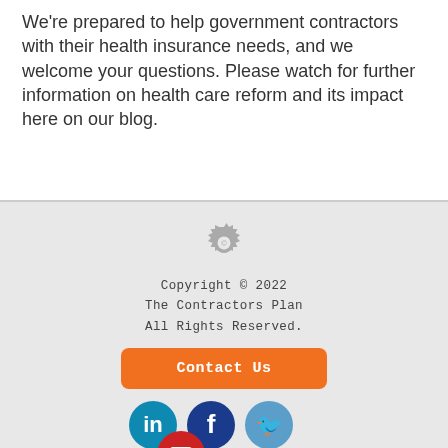We're prepared to help government contractors with their health insurance needs, and we welcome your questions. Please watch for further information on health care reform and its impact here on our blog.
Copyright © 2022
The Contractors Plan
All Rights Reserved.
[Contact Us button]
[LinkedIn, Facebook, Twitter, YouTube social icons]